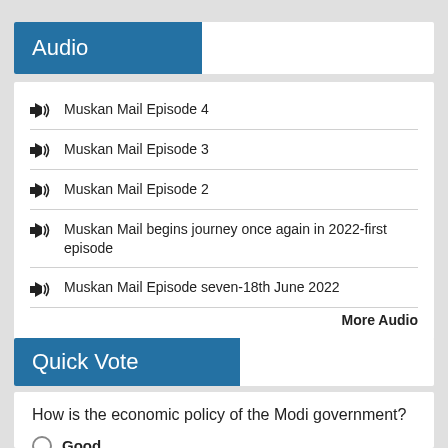Audio
Muskan Mail Episode 4
Muskan Mail Episode 3
Muskan Mail Episode 2
Muskan Mail begins journey once again in 2022-first episode
Muskan Mail Episode seven-18th June 2022
More Audio
Quick Vote
How is the economic policy of the Modi government?
Good